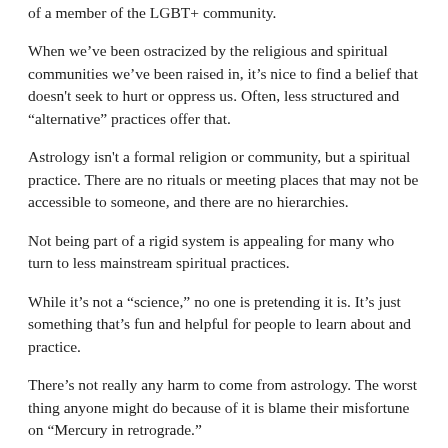of a member of the LGBT+ community.
When we've been ostracized by the religious and spiritual communities we've been raised in, it's nice to find a belief that doesn't seek to hurt or oppress us. Often, less structured and “alternative” practices offer that.
Astrology isn't a formal religion or community, but a spiritual practice. There are no rituals or meeting places that may not be accessible to someone, and there are no hierarchies.
Not being part of a rigid system is appealing for many who turn to less mainstream spiritual practices.
While it's not a “science,” no one is pretending it is. It’s just something that’s fun and helpful for people to learn about and practice.
There’s not really any harm to come from astrology. The worst thing anyone might do because of it is blame their misfortune on “Mercury in retrograde.”
It’s so odd to me that everyone loves to poke fun as astrology when it’s not hurting anyone, and it can be really helpful for people who have been unwelcome in many religious settings. I think part of why people